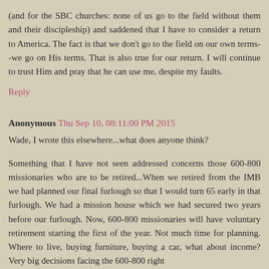(and for the SBC churches: none of us go to the field without them and their discipleship) and saddened that I have to consider a return to America. The fact is that we don't go to the field on our own terms--we go on His terms. That is also true for our return. I will continue to trust Him and pray that he can use me, despite my faults.
Reply
Anonymous Thu Sep 10, 08:11:00 PM 2015
Wade, I wrote this elsewhere...what does anyone think?
Something that I have not seen addressed concerns those 600-800 missionaries who are to be retired...When we retired from the IMB we had planned our final furlough so that I would turn 65 early in that furlough. We had a mission house which we had secured two years before our furlough. Now, 600-800 missionaries will have voluntary retirement starting the first of the year. Not much time for planning. Where to live, buying furniture, buying a car, what about income? Very big decisions facing the 600-800 right